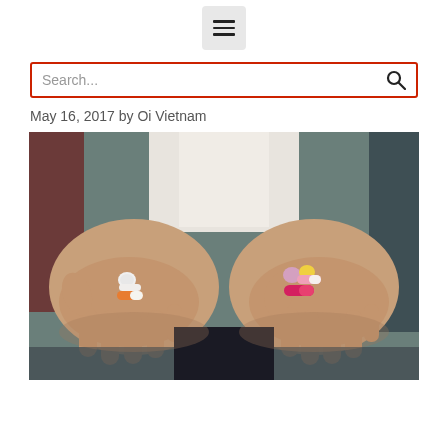hamburger menu icon
Search...
May 16, 2017 by Oi Vietnam
[Figure (photo): Two open palms held out, each holding pills and capsules. Left hand holds fewer pills (white tablet, orange and white capsule), right hand holds more colorful pills (pink/lavender, yellow, red/pink, white/pink capsule). Person wearing white top in background.]